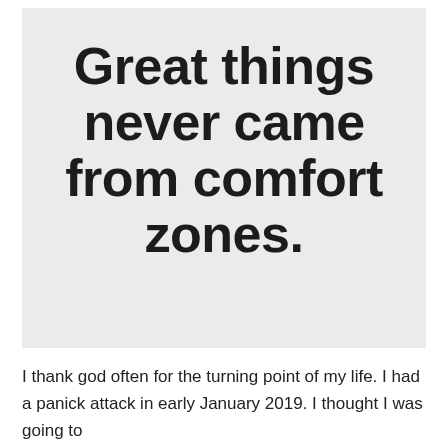[Figure (illustration): Light gray box containing a bold motivational quote in large black text: 'Great things never came from comfort zones.']
Great things never came from comfort zones.
I thank god often for the turning point of my life. I had a panick attack in early January 2019. I thought I was going to